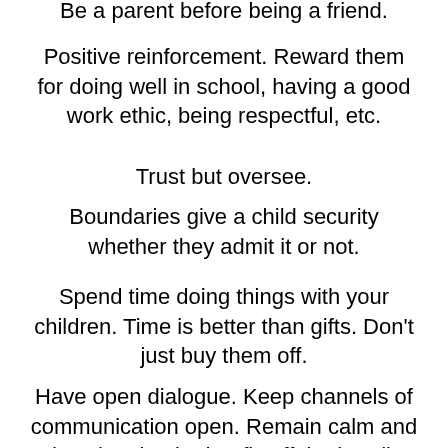Be a parent before being a friend.
Positive reinforcement. Reward them for doing well in school, having a good work ethic, being respectful, etc.
Trust but oversee.
Boundaries give a child security whether they admit it or not.
Spend time doing things with your children. Time is better than gifts. Don’t just buy them off.
Have open dialogue. Keep channels of communication open. Remain calm and don’t be shocked or fly off the handle with some insecure traditional belief when they tell you something.
Do not allow disrespect. Start early letting them know that eye rolling, disrespectful attitudes and tone will